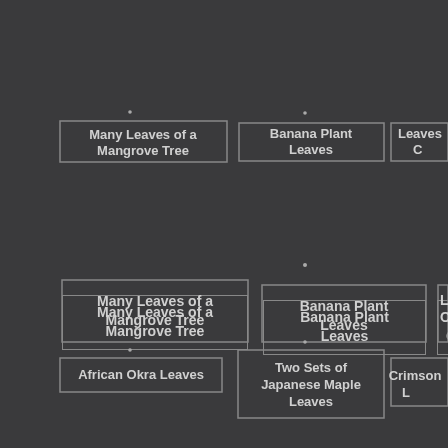[Figure (other): Grid of labeled leaf image cards on dark background. Top row: 'Many Leaves of a Mangrove Tree', 'Banana Plant Leaves', 'Leaves of C...' (partially cropped). Bottom row: 'African Okra Leaves', 'Two Sets of Japanese Maple Leaves', 'Crimson L...' (partially cropped).]
Many Leaves of a Mangrove Tree
Banana Plant Leaves
Leaves of C...
African Okra Leaves
Two Sets of Japanese Maple Leaves
Crimson L...